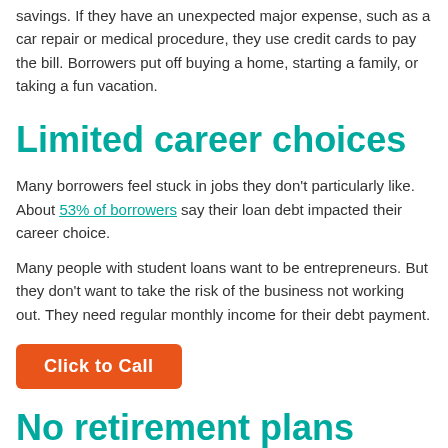savings. If they have an unexpected major expense, such as a car repair or medical procedure, they use credit cards to pay the bill. Borrowers put off buying a home, starting a family, or taking a fun vacation.
Limited career choices
Many borrowers feel stuck in jobs they don’t particularly like. About 53% of borrowers say their loan debt impacted their career choice.
Many people with student loans want to be entrepreneurs. But they don’t want to take the risk of the business not working out. They need regular monthly income for their debt payment.
Click to Call
No retirement plans